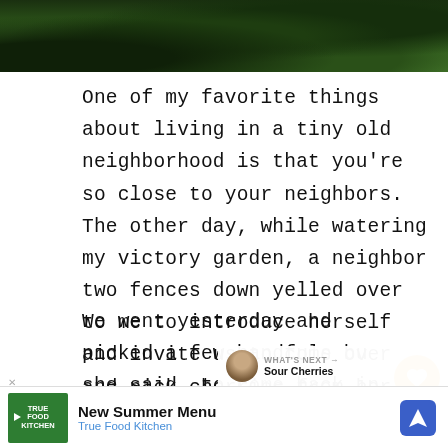[Figure (photo): Top portion of a tree with green leaves and dark branches, partially visible photo at top of page]
One of my favorite things about living in a tiny old neighborhood is that you're so close to your neighbors. The other day, while watering my victory garden, a neighbor two fences down yelled over to me to introduce herself and invite us to come over and pick cherries from her big old cherry tree. She said she has pints of them dehydrated and frozen and she invites all of the neighbors to come any time and get what they can before the birds get all of them.
We went yesterday and picked a few handfuls but she said to come back in the morning too, when many of the lower branches would have b...